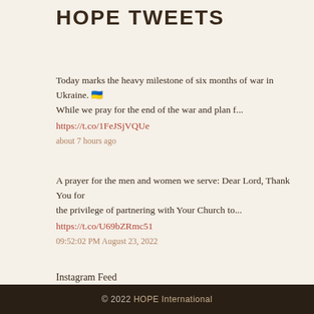HOPE TWEETS
Today marks the heavy milestone of six months of war in Ukraine. 🇺🇦 While we pray for the end of the war and plan f... https://t.co/1FeJSjVQUe
about 7 hours ago
A prayer for the men and women we serve: Dear Lord, Thank You for the privilege of partnering with Your Church to... https://t.co/U69bZRmc51
09:52:02 PM August 23, 2022
Instagram Feed
© 2022 HOPE International